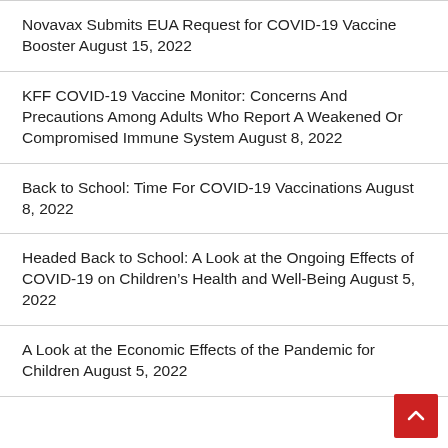Novavax Submits EUA Request for COVID-19 Vaccine Booster August 15, 2022
KFF COVID-19 Vaccine Monitor: Concerns And Precautions Among Adults Who Report A Weakened Or Compromised Immune System August 8, 2022
Back to School: Time For COVID-19 Vaccinations August 8, 2022
Headed Back to School: A Look at the Ongoing Effects of COVID-19 on Children’s Health and Well-Being August 5, 2022
A Look at the Economic Effects of the Pandemic for Children August 5, 2022